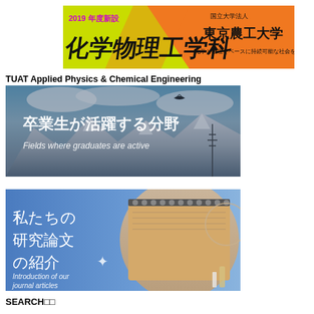[Figure (illustration): TUAT banner with yellow-green and orange diagonal background. Left side shows '2019年度新設' in magenta and '化学物理工学科' in large black text. Right side shows '国立大学法人 東京農工大学' and '化学と物理をベースに持続可能な社会を実現' in black text on orange.]
TUAT Applied Physics & Chemical Engineering
[Figure (photo): Mountain landscape with snow-capped peaks, an eagle soaring, and power transmission towers. White Japanese text overlay reads '卒業生が活躍する分野' with English subtitle 'Fields where graduates are active'.]
[Figure (photo): Blue gradient background with a notebook and stationery items. White Japanese text reads '私たちの研究論文の紹介' with English subtitle 'Introduction of our journal articles'.]
SEARCH□□